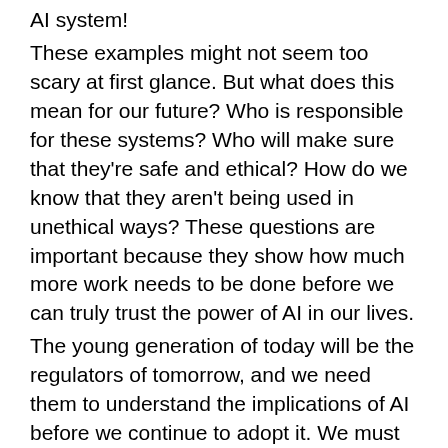AI system! These examples might not seem too scary at first glance. But what does this mean for our future? Who is responsible for these systems? Who will make sure that they're safe and ethical? How do we know that they aren't being used in unethical ways? These questions are important because they show how much more work needs to be done before we can truly trust the power of AI in our lives.
The young generation of today will be the regulators of tomorrow, and we need them to understand the implications of AI before we continue to adopt it. We must prepare them to be able to make ethical and moral decisions about this technology — and that means giving them the tools they need to do so.